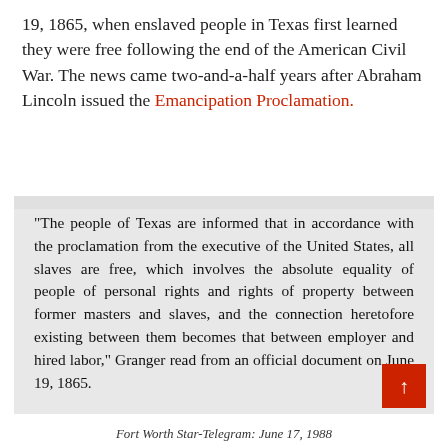19, 1865, when enslaved people in Texas first learned they were free following the end of the American Civil War. The news came two-and-a-half years after Abraham Lincoln issued the Emancipation Proclamation.
[Figure (other): Scanned newspaper clipping with quote about the people of Texas being informed of freedom, attributed to Granger reading from an official document on June 19, 1865.]
Fort Worth Star-Telegram: June 17, 1988